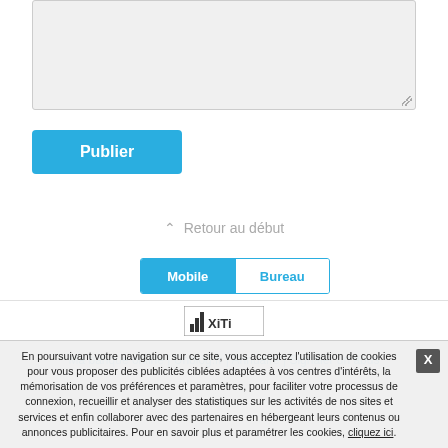[Figure (screenshot): Textarea input box with light grey background and resize handle at bottom-right]
Publier
⌃ Retour au début
Mobile | Bureau
[Figure (logo): XiTi analytics logo in a bordered box]
Ma banque online | Unblog.fr | Annuaire | Signaler un abus
En poursuivant votre navigation sur ce site, vous acceptez l'utilisation de cookies pour vous proposer des publicités ciblées adaptées à vos centres d'intérêts, la mémorisation de vos préférences et paramètres, pour faciliter votre processus de connexion, recueillir et analyser des statistiques sur les activités de nos sites et services et enfin collaborer avec des partenaires en hébergeant leurs contenus ou annonces publicitaires. Pour en savoir plus et paramétrer les cookies, cliquez ici.